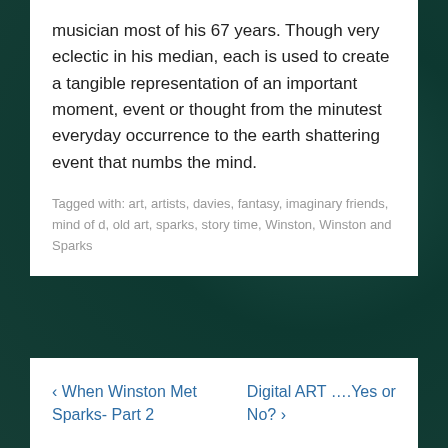musician most of his 67 years. Though very eclectic in his median, each is used to create a tangible representation of an important moment, event or thought from the minutest everyday occurrence to the earth shattering event that numbs the mind.
Tagged with: art, artists, davies, fantasy, imaginary friends, mind of d, old art, sparks, story time, Winston, Winston and Sparks
‹ When Winston Met Sparks- Part 2
Digital ART ….Yes or No? ›